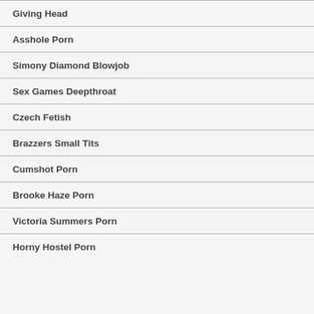Giving Head
Asshole Porn
Simony Diamond Blowjob
Sex Games Deepthroat
Czech Fetish
Brazzers Small Tits
Cumshot Porn
Brooke Haze Porn
Victoria Summers Porn
Horny Hostel Porn